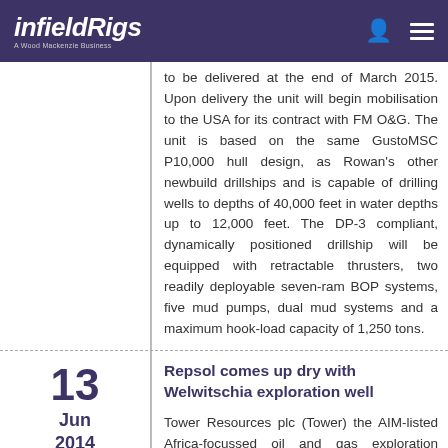infieldRigs — A Wood Mackenzie Business
to be delivered at the end of March 2015. Upon delivery the unit will begin mobilisation to the USA for its contract with FM O&G. The unit is based on the same GustoMSC P10,000 hull design, as Rowan's other newbuild drillships and is capable of drilling wells to depths of 40,000 feet in water depths up to 12,000 feet. The DP-3 compliant, dynamically positioned drillship will be equipped with retractable thrusters, two readily deployable seven-ram BOP systems, five mud pumps, dual mud systems and a maximum hook-load capacity of 1,250 tons.
Repsol comes up dry with Welwitschia exploration well
13 Jun 2014
Tower Resources plc (Tower) the AIM-listed Africa-focussed oil and gas exploration company, through its wholly-owned subsidiary, Neptune Petroleum (Namibia) Limited (Neptune), provides the following update with respect to the